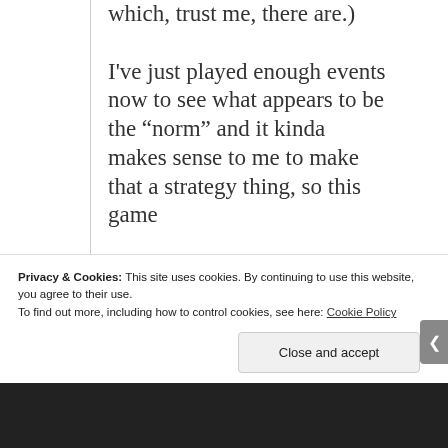which, trust me, there are.) I've just played enough events now to see what appears to be the “norm” and it kinda makes sense to me to make that a strategy thing, so this game
Privacy & Cookies: This site uses cookies. By continuing to use this website, you agree to their use.
To find out more, including how to control cookies, see here: Cookie Policy
Close and accept